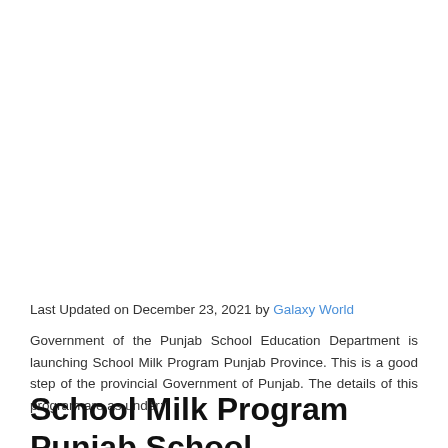Last Updated on December 23, 2021 by Galaxy World
Government of the Punjab School Education Department is launching School Milk Program Punjab Province. This is a good step of the provincial Government of Punjab. The details of this program are as under:
School Milk Program Punjab School